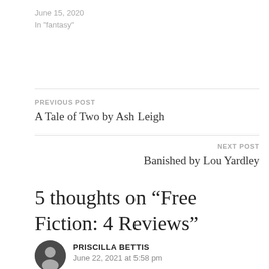June 15, 2020
In "fantasy"
PREVIOUS POST
A Tale of Two by Ash Leigh
NEXT POST
Banished by Lou Yardley
5 thoughts on “Free Fiction: 4 Reviews”
PRISCILLA BETTIS
June 22, 2021 at 5:58 pm